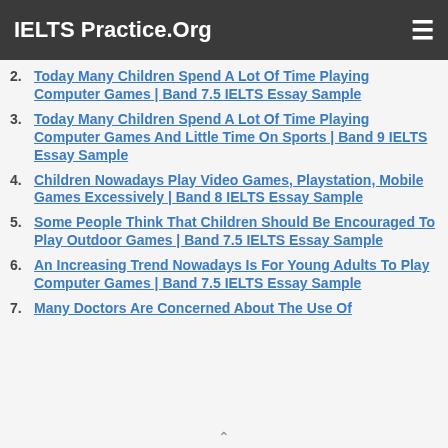IELTS Practice.Org
2. Today Many Children Spend A Lot Of Time Playing Computer Games | Band 7.5 IELTS Essay Sample
3. Today Many Children Spend A Lot Of Time Playing Computer Games And Little Time On Sports | Band 9 IELTS Essay Sample
4. Children Nowadays Play Video Games, Playstation, Mobile Games Excessively | Band 8 IELTS Essay Sample
5. Some People Think That Children Should Be Encouraged To Play Outdoor Games | Band 7.5 IELTS Essay Sample
6. An Increasing Trend Nowadays Is For Young Adults To Play Computer Games | Band 7.5 IELTS Essay Sample
7. Many Doctors Are Concerned About The Use Of